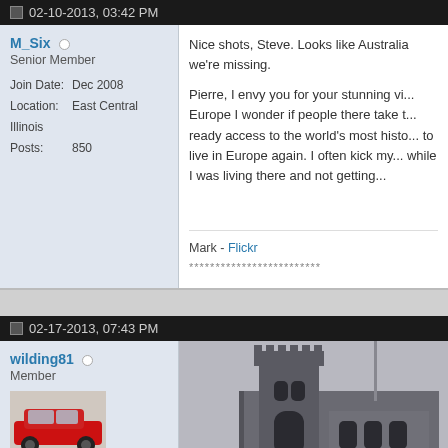02-10-2013, 03:42 PM
M_Six — Senior Member
Join Date: Dec 2008
Location: East Central Illinois
Posts: 850
Nice shots, Steve. Looks like Australia we're missing.

Pierre, I envy you for your stunning vi... Europe I wonder if people there take t... ready access to the world's most histo... to live in Europe again. I often kick my... while I was living there and not getting...
Mark - Flickr
*************************
02-17-2013, 07:43 PM
wilding81 — Member
Join Date: Feb 2012
Location: Sunderland, UK
[Figure (photo): Red Ferrari sports car parked outdoors, user avatar]
[Figure (photo): Gothic stone church building with ornate windows and roofline]